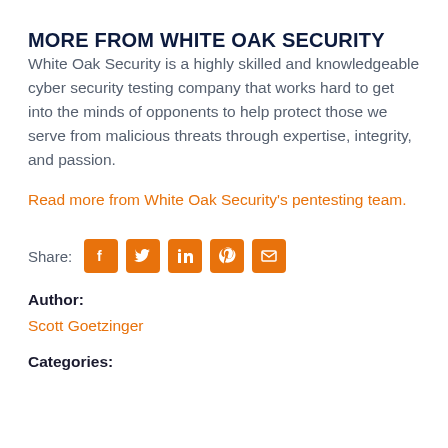MORE FROM WHITE OAK SECURITY
White Oak Security is a highly skilled and knowledgeable cyber security testing company that works hard to get into the minds of opponents to help protect those we serve from malicious threats through expertise, integrity, and passion.
Read more from White Oak Security's pentesting team.
Share: [Facebook] [Twitter] [LinkedIn] [Pinterest] [Email]
Author:
Scott Goetzinger
Categories: